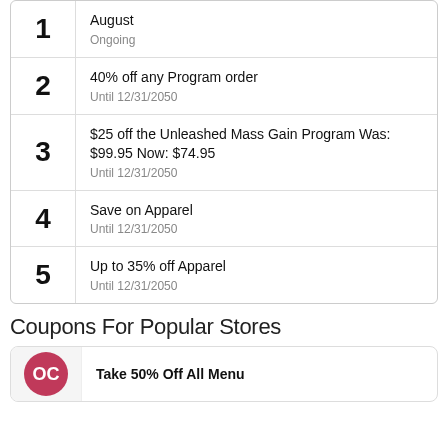August
Ongoing
40% off any Program order
Until 12/31/2050
$25 off the Unleashed Mass Gain Program Was: $99.95 Now: $74.95
Until 12/31/2050
Save on Apparel
Until 12/31/2050
Up to 35% off Apparel
Until 12/31/2050
Coupons For Popular Stores
Take 50% Off All Menu